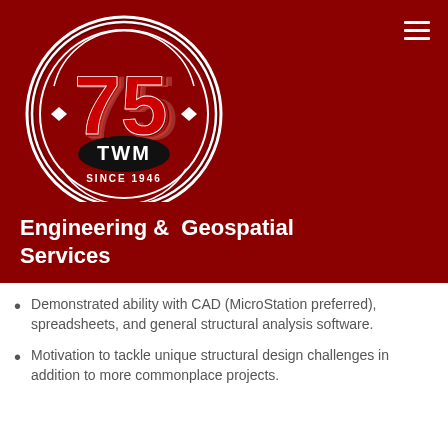[Figure (logo): TWM 75th anniversary circular logo with '75' numeral, TWM text, and 'SINCE 1946' banner, on dark red background]
Engineering & Geospatial Services
Demonstrated ability with CAD (MicroStation preferred), spreadsheets, and general structural analysis software.
Motivation to tackle unique structural design challenges in addition to more commonplace projects.